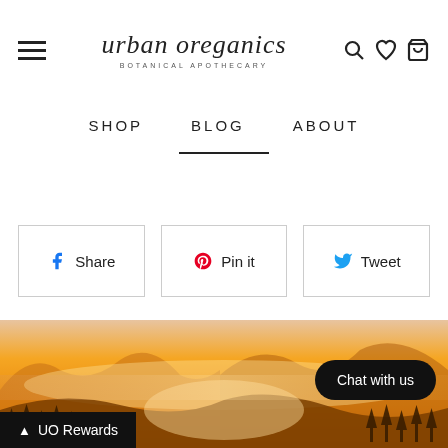urban oreganics — BOTANICAL APOTHECARY
SHOP   BLOG   ABOUT
Share | Pin it | Tweet
[Figure (photo): Golden foggy mountain landscape at sunrise with silhouetted trees in foreground and warm orange/amber sky]
Chat with us
UO Rewards